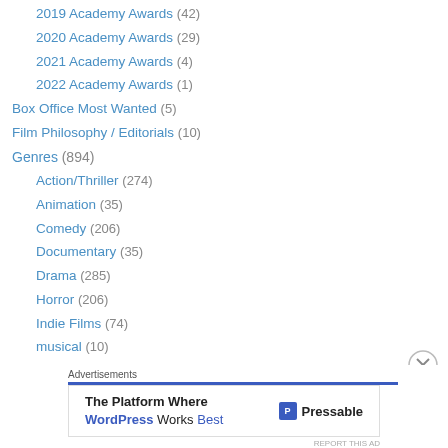2019 Academy Awards (42)
2020 Academy Awards (29)
2021 Academy Awards (4)
2022 Academy Awards (1)
Box Office Most Wanted (5)
Film Philosophy / Editorials (10)
Genres (894)
Action/Thriller (274)
Animation (35)
Comedy (206)
Documentary (35)
Drama (285)
Horror (206)
Indie Films (74)
musical (10)
Romance (37)
Sci-Fi/Fantasy (94)
Advertisements
[Figure (other): Pressable advertisement banner: The Platform Where WordPress Works Best]